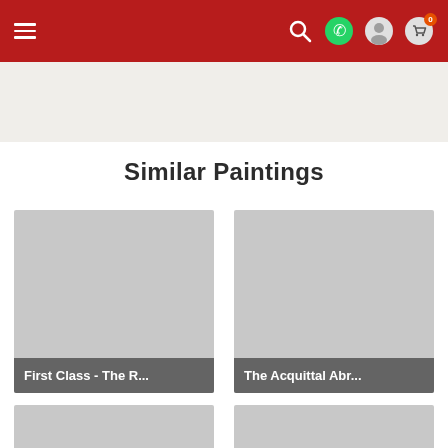Navigation bar with hamburger menu, search, WhatsApp, user, and cart (0) icons
[Figure (other): Light beige banner/hero area below navigation]
Similar Paintings
[Figure (photo): Painting thumbnail placeholder (gray) with caption 'First Class - The R...']
[Figure (photo): Painting thumbnail placeholder (gray) with caption 'The Acquittal Abr...']
[Figure (photo): Painting thumbnail placeholder (gray), partially visible, no caption]
[Figure (photo): Painting thumbnail placeholder (gray), partially visible, no caption]